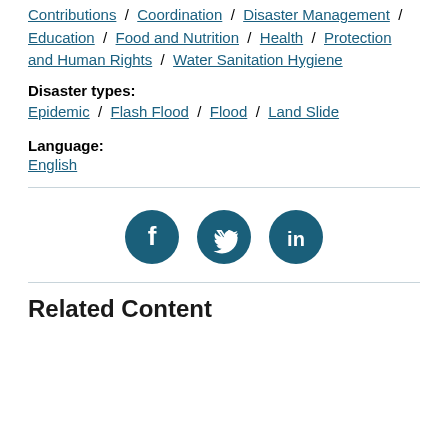Themes: Contributions / Coordination / Disaster Management / Education / Food and Nutrition / Health / Protection and Human Rights / Water Sanitation Hygiene
Disaster types:
Epidemic / Flash Flood / Flood / Land Slide
Language:
English
[Figure (infographic): Social media share icons: Facebook, Twitter, LinkedIn — dark teal circular buttons]
Related Content